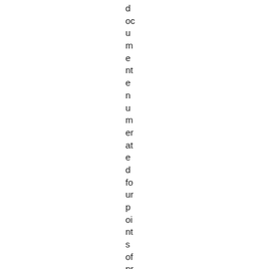document enumerated four points of principle: that inter